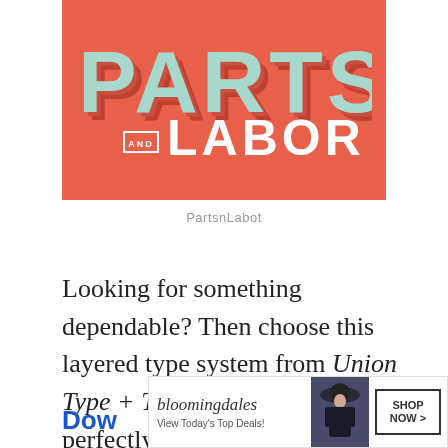[Figure (illustration): Book cover or graphic with coral/red-orange background showing large 3D letters 'PARTS' in mint/teal color with shadow effect, and 'AND LABOR' below in white with a small boxed 'AND']
PartsnLabot
Looking for something dependable? Then choose this layered type system from Union Type + Texture that comes out perfectly aligned and beautiful every time.
[Figure (advertisement): Bloomingdale's advertisement banner showing logo, 'View Today's Top Deals!', photo of woman in hat, and 'SHOP NOW >' button]
Dow